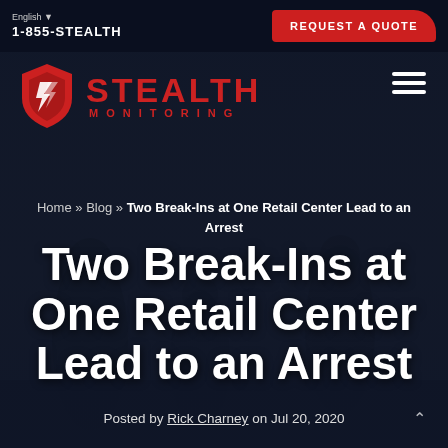English ▼  1-855-STEALTH  |  REQUEST A QUOTE
[Figure (logo): Stealth Monitoring logo with red shield icon and red STEALTH MONITORING text]
Home » Blog » Two Break-Ins at One Retail Center Lead to an Arrest
Two Break-Ins at One Retail Center Lead to an Arrest
Posted by Rick Charney on Jul 20, 2020